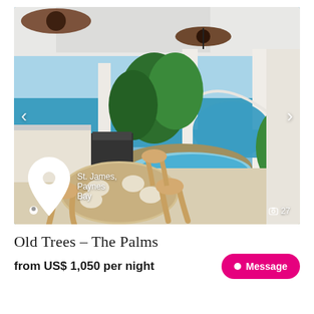[Figure (photo): Interior/exterior photo of luxury villa 'Old Trees - The Palms' showing an open-air covered patio with dining table and chairs, outdoor kitchen with BBQ grill, white columns, tropical landscaping, swimming pool, and ocean view in the background. Location overlay: 'St. James, Paynes Bay'. Photo count: 27.]
Old Trees – The Palms
from US$ 1,050 per night